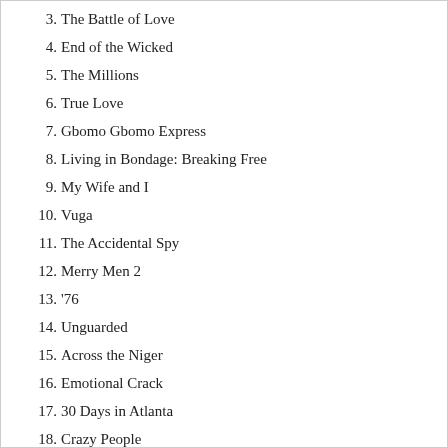3. The Battle of Love
4. End of the Wicked
5. The Millions
6. True Love
7. Gbomo Gbomo Express
8. Living in Bondage: Breaking Free
9. My Wife and I
10. Vuga
11. The Accidental Spy
12. Merry Men 2
13. '76
14. Unguarded
15. Across the Niger
16. Emotional Crack
17. 30 Days in Atlanta
18. Crazy People
19. Body Language
20. Slay
21. Weekend Getaway
22. Confusion Na Wa